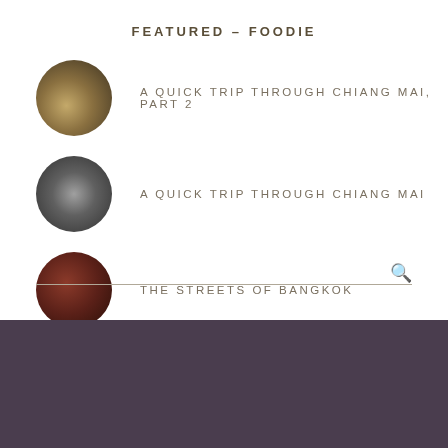FEATURED – FOODIE
A QUICK TRIP THROUGH CHIANG MAI, PART 2
A QUICK TRIP THROUGH CHIANG MAI
THE STREETS OF BANGKOK